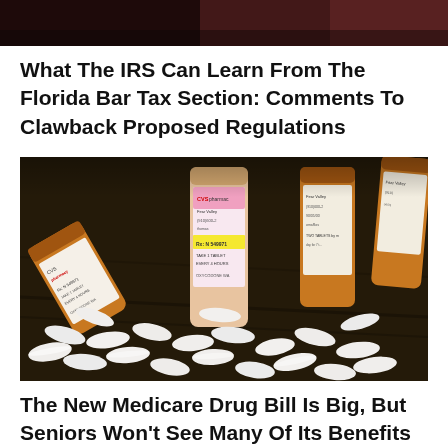[Figure (photo): Partial top portion of a photo, dark reddish-brown tones]
What The IRS Can Learn From The Florida Bar Tax Section: Comments To Clawback Proposed Regulations
[Figure (photo): Photo of multiple orange prescription pill bottles (CVS pharmacy) with white pills/capsules scattered on a dark surface. One bottle label reads 'Rx: N 549971 TAKE 1 TABLET EVERY 4 HOURS OXYCODONE WA...']
The New Medicare Drug Bill Is Big, But Seniors Won't See Many Of Its Benefits For Years